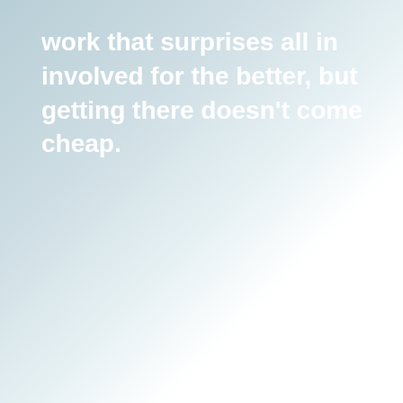work that surprises all in involved for the better, but getting there doesn't come cheap.